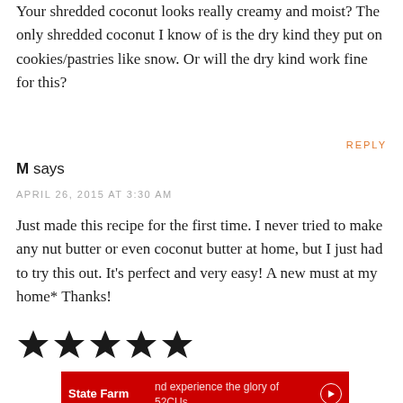Your shredded coconut looks really creamy and moist? The only shredded coconut I know of is the dry kind they put on cookies/pastries like snow. Or will the dry kind work fine for this?
REPLY
M says
APRIL 26, 2015 AT 3:30 AM
Just made this recipe for the first time. I never tried to make any nut butter or even coconut butter at home, but I just had to try this out. It's perfect and very easy! A new must at my home* Thanks!
[Figure (other): Five filled star rating icons]
[Figure (other): State Farm advertisement banner in red with logo and text: 'and experience the glory of 52CUs at 1.85GHZ in stunning 8k.']